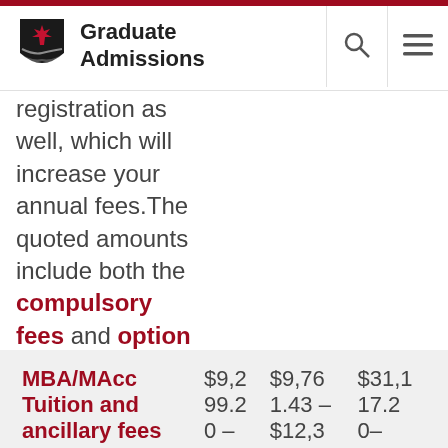Graduate Admissions
registration as well, which will increase your annual fees. The quoted amounts include both the compulsory fees and optional non-tuition fees in their totals.
|  | Col1 | Col2 | Col3 |
| --- | --- | --- | --- |
| MBA/MAcc Tuition and ancillary fees | $9,299.20 - | $9,761.43 - $12,3 | $31,117.20- |